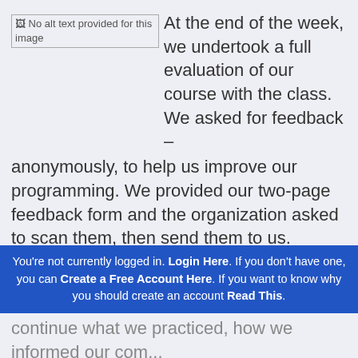[Figure (photo): Image placeholder with text 'No alt text provided for this image']
At the end of the week, we undertook a full evaluation of our course with the class. We asked for feedback – anonymously, to help us improve our programming. We provided our two-page feedback form and the organization asked to scan them, then send them to us.
We arrived back in Canada and began to
You're not currently logged in. Login Here. If you don't have one, you can Create a Free Account Here. If you want to know why you should create an account Read This.